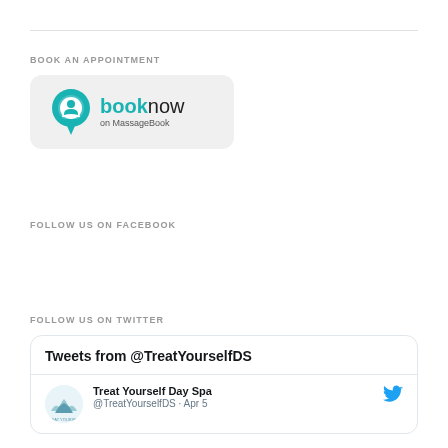BOOK AN APPOINTMENT
[Figure (logo): Book Now on MassageBook button with teal location-pin icon and teal/dark 'booknow' text]
FOLLOW US ON FACEBOOK
FOLLOW US ON TWITTER
Tweets from @TreatYourselfDS
Treat Yourself Day Spa @TreatYourselfDS · Apr 5